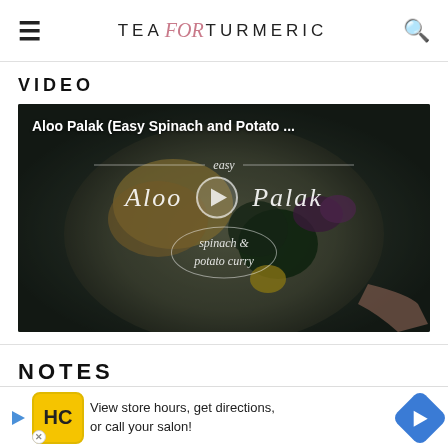TEA for TURMERIC
VIDEO
[Figure (screenshot): Video thumbnail for Aloo Palak (Easy Spinach and Potato ...) showing a bowl of food with broccoli, with a play button overlay and text 'easy Aloo Palak spinach & potato curry']
NOTES
Note onion
[Figure (other): Advertisement banner: View store hours, get directions, or call your salon!]